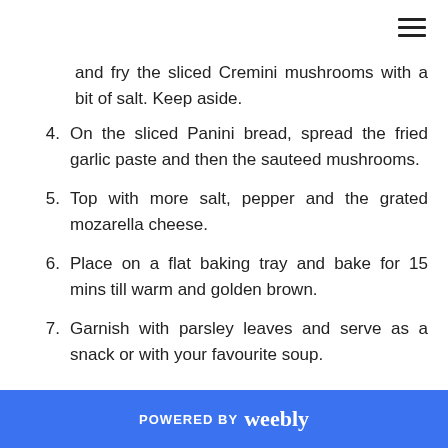and fry the sliced Cremini mushrooms with a bit of salt. Keep aside.
4. On the sliced Panini bread, spread the fried garlic paste and then the sauteed mushrooms.
5. Top with more salt, pepper and the grated mozarella cheese.
6. Place on a flat baking tray and bake for 15 mins till warm and golden brown.
7. Garnish with parsley leaves and serve as a snack or with your favourite soup.
POWERED BY weebly